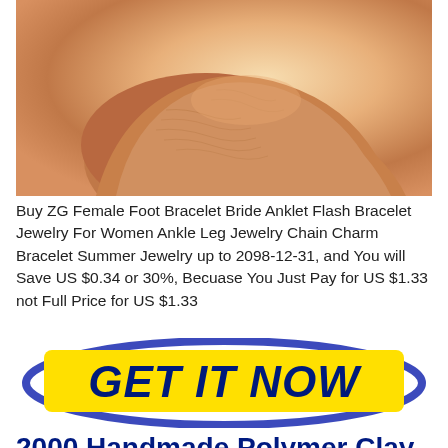[Figure (photo): Close-up photograph of a human heel/ankle area, showing skin texture and creases, warm beige/tan tones]
Buy ZG Female Foot Bracelet Bride Anklet Flash Bracelet Jewelry For Women Ankle Leg Jewelry Chain Charm Bracelet Summer Jewelry up to 2098-12-31, and You will Save US $0.34 or 30%, Becuase You Just Pay for US $1.33 not Full Price for US $1.33
[Figure (other): Yellow GET IT NOW button with dark navy bold italic text, surrounded by a dark blue oval ring graphic]
2000 Handmade Polymer Clay...